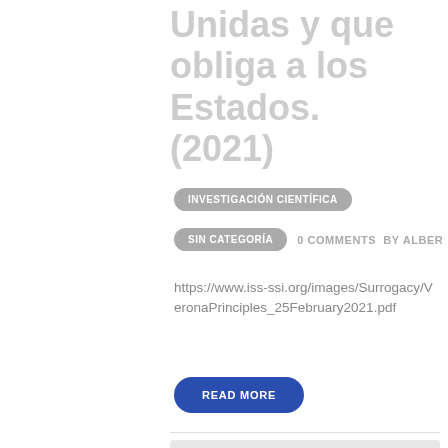Unidas y que obliga a los Estados. (2021)
INVESTIGACIÓN CIENTÍFICA
SIN CATEGORÍA   0 COMMENTS   BY ALBER
https://www.iss-ssi.org/images/Surrogacy/VeronaPrinciples_25February2021.pdf
READ MORE
[Figure (photo): Bottom section showing a gray image area with a coin/medallion graphic at lower left and a teal accent block at lower right]